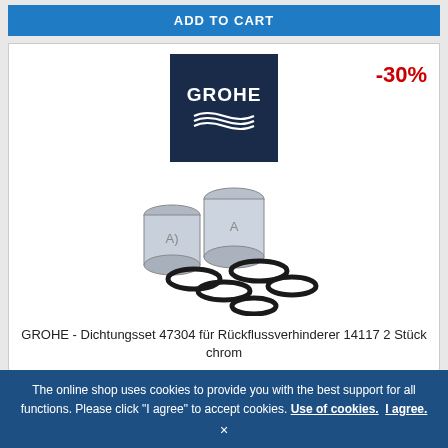[Figure (screenshot): Blue ADD TO CART button at top of page]
[Figure (logo): GROHE brand logo on dark navy background with wave symbol]
-30%
[Figure (photo): GROHE product photo showing two cylindrical chrome filter inserts and five black rubber O-rings for Dichtungsset 47304]
GROHE - Dichtungsset 47304 für Rückflussverhinderer 14117 2 Stück chrom
The online shop uses cookies to provide you with the best support for all functions. Please click "I agree" to accept cookies. Use of cookies. I agree.
Delivery time: